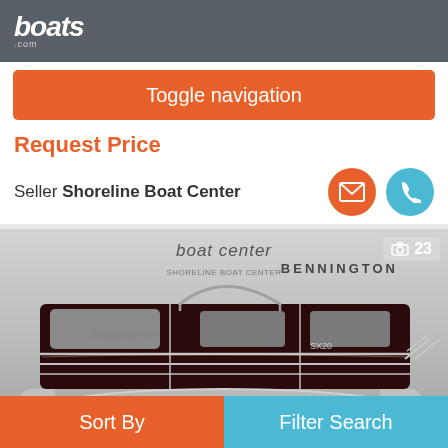boats.com
Toggle navigation
Request Price
Seller Shoreline Boat Center
[Figure (photo): A Bennington pontoon boat displayed indoors at a boat center. The boat has a dark maroon/black hull with chrome pontoon tubes, gray seating, and underglow lighting. A 'boat center' sign is visible in the background, along with the BENNINGTON brand name. A photo count badge showing '23' appears in the upper right corner.]
Sort By    Filter Search